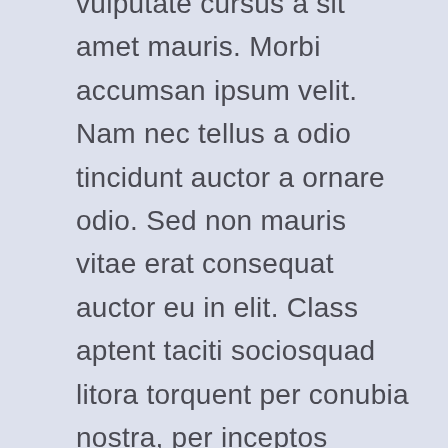vulputate cursus a sit amet mauris. Morbi accumsan ipsum velit. Nam nec tellus a odio tincidunt auctor a ornare odio. Sed non mauris vitae erat consequat auctor eu in elit. Class aptent taciti sociosquad litora torquent per conubia nostra, per inceptos himenaeos. Mauris in erat justo. Nullam ac urna eu felis dapibus condimentum sit amet a augue. Sed non neque elit. Sed ut imperdiet nisi. Proin condimentum fermentum nunc. Etiam pharetra, erat sed fermentum feugiat, velit mauris egestas quam, ut aliquam massa nisl quis neque.